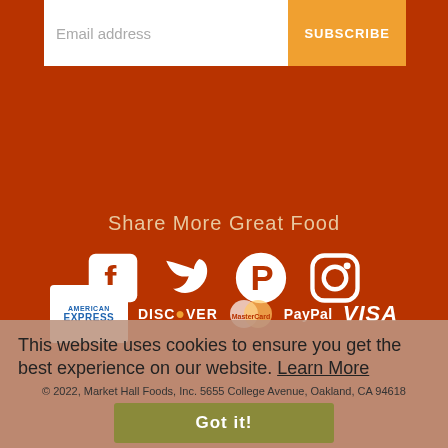Email address
SUBSCRIBE
Share More Great Food
[Figure (illustration): Social media icons: Facebook, Twitter, Pinterest, Instagram in white on dark red background]
[Figure (illustration): Payment method logos: American Express, Discover, MasterCard, PayPal, Visa in white on dark red background]
This website uses cookies to ensure you get the best experience on our website. Learn More
© 2022, Market Hall Foods, Inc. 5655 College Avenue, Oakland, CA 94618
Got it!